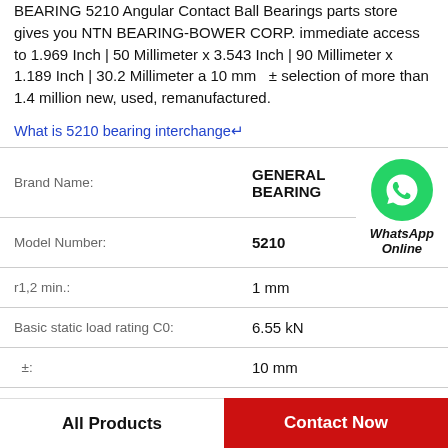BEARING 5210 Angular Contact Ball Bearings parts store gives you NTN BEARING-BOWER CORP. immediate access to 1.969 Inch | 50 Millimeter x 3.543 Inch | 90 Millimeter x 1.189 Inch | 30.2 Millimeter a 10 mm ± selection of more than 1.4 million new, used, remanufactured.
What is 5210 bearing interchange↵
| Brand Name: |  |  |
| --- | --- | --- |
| Brand Name: | GENERAL BEARING |  |
| Model Number: | 5210 | WhatsApp Online |
| r1,2 min.: | 1 mm |  |
| Basic static load rating C0: | 6.55 kN |  |
| ±: | 10 mm |  |
| D2: | 46.56 mm |  |
All Products | Contact Now